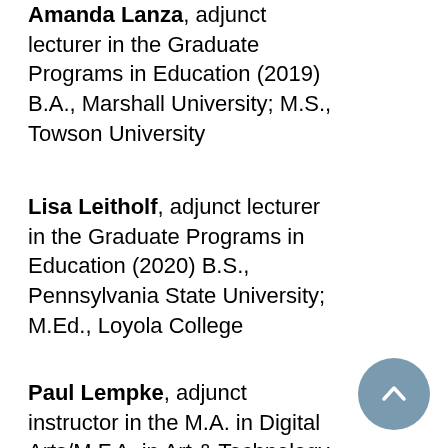Amanda Lanza, adjunct lecturer in the Graduate Programs in Education (2019) B.A., Marshall University; M.S., Towson University
Lisa Leitholf, adjunct lecturer in the Graduate Programs in Education (2020) B.S., Pennsylvania State University; M.Ed., Loyola College
Paul Lempke, adjunct instructor in the M.A. in Digital Arts/M.F.A. in Art & Technology program (2012) B.A., Indiana University; M.F.A., University of Illinois...